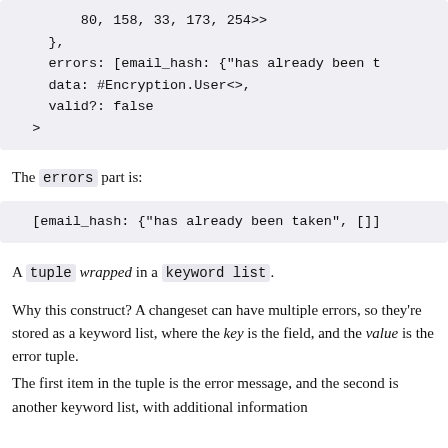80, 158, 33, 173, 254>>
},
errors: [email_hash: {"has already been t
data: #Encryption.User<>,
valid?: false
>
The errors part is:
[email_hash: {"has already been taken", []}
A tuple wrapped in a keyword list.
Why this construct? A changeset can have multiple errors, so they're stored as a keyword list, where the key is the field, and the value is the error tuple.
The first item in the tuple is the error message, and the second is another keyword list, with additional information